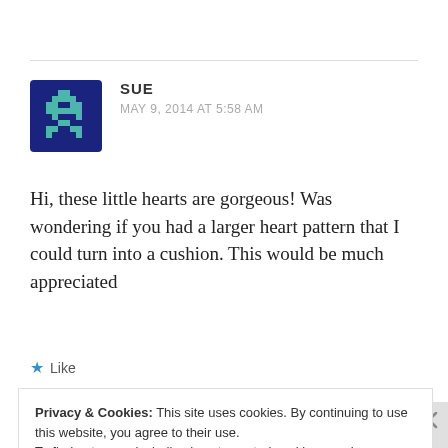[Figure (illustration): Pixel-art style avatar icon: dark blue background with a green pixel-art space invader style figure]
SUE
MAY 9, 2014 AT 5:58 AM
Hi, these little hearts are gorgeous! Was wondering if you had a larger heart pattern that I could turn into a cushion. This would be much appreciated
Like
Privacy & Cookies: This site uses cookies. By continuing to use this website, you agree to their use.
To find out more, including how to control cookies, see here: Cookie Policy
Close and accept